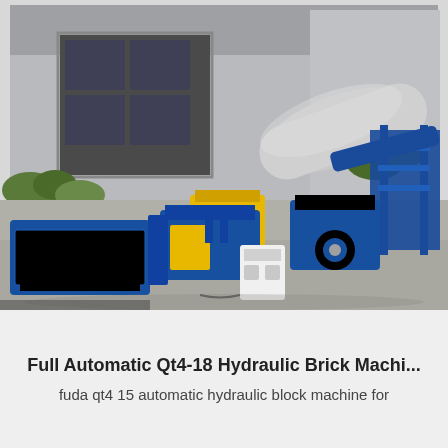[Figure (photo): Aerial/overhead view of a full automatic Qt4-18 hydraulic brick making machine setup outdoors in a factory yard. The machinery is primarily blue and yellow, including block-making units, conveyor belts, a large cylindrical drum/mixer, and a control panel. The background shows a large industrial building with grey walls and a green metal roof.]
Full Automatic Qt4-18 Hydraulic Brick Machi...
fuda qt4 15 automatic hydraulic block machine for